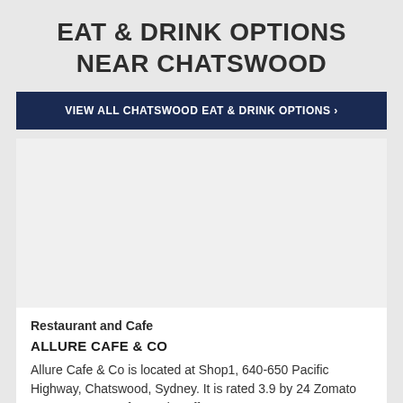EAT & DRINK OPTIONS NEAR CHATSWOOD
VIEW ALL CHATSWOOD EAT & DRINK OPTIONS >
[Figure (photo): White placeholder image area for a restaurant or cafe listing photo]
Restaurant and Cafe
ALLURE CAFE & CO
Allure Cafe & Co is located at Shop1, 640-650 Pacific Highway, Chatswood, Sydney. It is rated 3.9 by 24 Zomato users. Serves Cafe Food, Coffee.